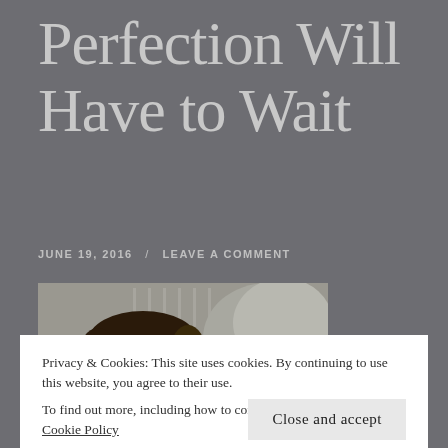Perfection Will Have to Wait
JUNE 19, 2016  /  LEAVE A COMMENT
[Figure (photo): Photo of a young child/baby lying down, looking at the camera, with white and grey bedding/blankets visible in the background]
Privacy & Cookies: This site uses cookies. By continuing to use this website, you agree to their use.
To find out more, including how to control cookies, see here: Cookie Policy
Close and accept